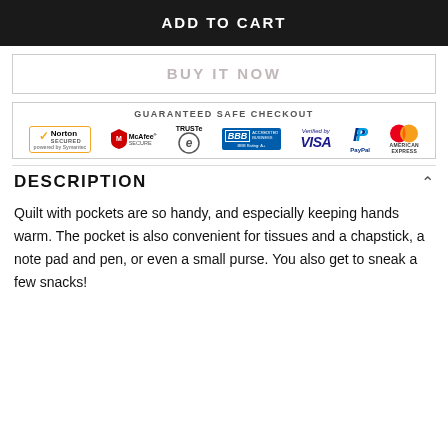ADD TO CART
BUY IT NOW
[Figure (infographic): Guaranteed Safe Checkout banner with security badges: Norton Secured (powered by Symantec), McAfee Secure, TRUSTe, BBB Accredited Business BBB Rating: A+, Verified by VISA, PayPal, MasterCard, American Express]
DESCRIPTION
Quilt with pockets are so handy, and especially keeping hands warm. The pocket is also convenient for tissues and a chapstick, a note pad and pen, or even a small purse. You also get to sneak a few snacks!